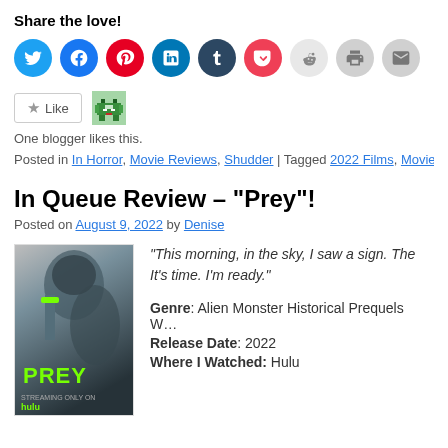Share the love!
[Figure (infographic): Row of social sharing icon circles: Twitter (blue), Facebook (blue), Pinterest (red), LinkedIn (blue), Tumblr (dark), Pocket (red), Reddit (light grey), Print (grey), Email (grey)]
[Figure (infographic): Like button with star icon and a blogger avatar (green monster pixel art)]
One blogger likes this.
Posted in In Horror, Movie Reviews, Shudder | Tagged 2022 Films, Movie Re…
In Queue Review – “Prey”!
Posted on August 9, 2022 by Denise
[Figure (photo): Movie poster for Prey (2022) on Hulu showing a figure with an axe in foggy scene with PREY title in green]
“This morning, in the sky, I saw a sign. The It’s time. I’m ready.”
Genre: Alien Monster Historical Prequels W
Release Date: 2022
Where I Watched: Hulu